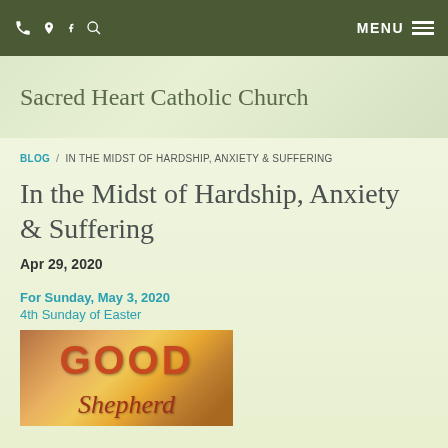Sacred Heart Catholic Church — MENU nav bar
Sacred Heart Catholic Church
BLOG / IN THE MIDST OF HARDSHIP, ANXIETY & SUFFERING
In the Midst of Hardship, Anxiety & Suffering
Apr 29, 2020
For Sunday, May 3, 2020
4th Sunday of Easter
[Figure (photo): Image with large text GOOD and cursive text below on a sunset/colorful background]